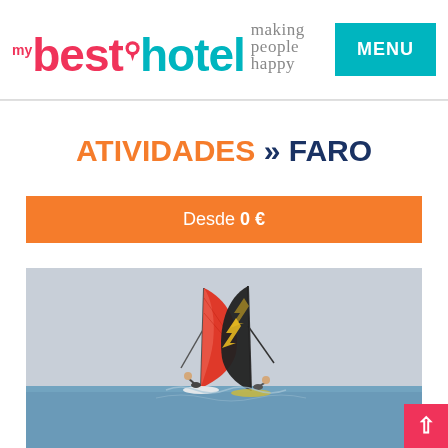[Figure (logo): My Best Hotel logo with map pin and tagline 'making people happy']
MENU
ATIVIDADES » FARO
Desde 0 €
[Figure (photo): Two windsurfers on the sea, one with a red sail and one with a black and yellow sail, against a light blue sky]